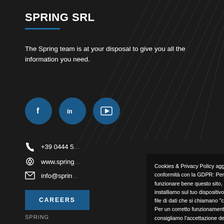SPRING SRL
The Spring team is at your disposal to give you all the information you need.
[Figure (illustration): Three social media icon circles: Facebook (f), LinkedIn (in), YouTube (play button)]
+39 0444 5…
www.spring…
info@sprin…
CAREERS (button)
SPRING
COLLABORATIONS
Cookies & Privacy Policy aggiornata in conformità con la GDPR: Per far funzionare bene questo sito, a volte installiamo sul tuo dispositivo dei piccoli file di dati che si chiamano "cookies". Per un corretto funzionamento del sito consigliamo l'accettazione della Policy, visionabile cliccando Più Informazioni. Grazie.
Accept
Read more